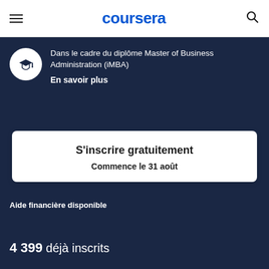coursera
Dans le cadre du diplôme Master of Business Administration (iMBA)
En savoir plus
S'inscrire gratuitement
Commence le 31 août
Aide financière disponible
4 399 déjà inscrits